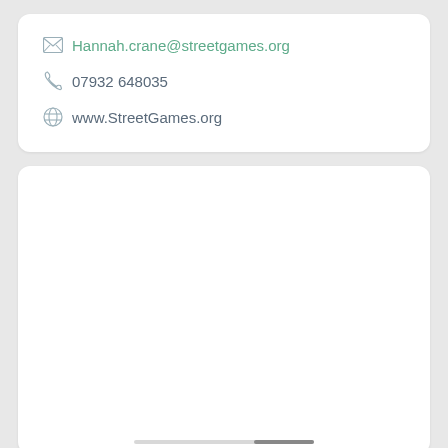Hannah.crane@streetgames.org
07932 648035
www.StreetGames.org